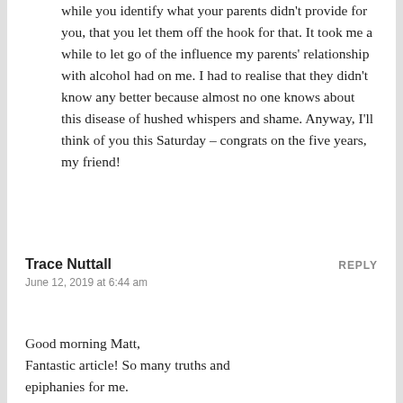while you identify what your parents didn't provide for you, that you let them off the hook for that. It took me a while to let go of the influence my parents' relationship with alcohol had on me. I had to realise that they didn't know any better because almost no one knows about this disease of hushed whispers and shame. Anyway, I'll think of you this Saturday – congrats on the five years, my friend!
Trace Nuttall
REPLY
June 12, 2019 at 6:44 am
Good morning Matt,
Fantastic article! So many truths and epiphanies for me.